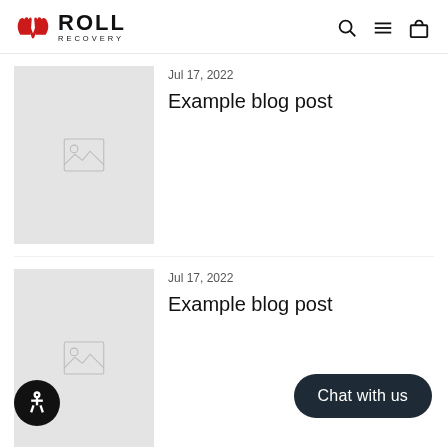ROLL RECOVERY
Jul 17, 2022
Example blog post
[Figure (illustration): Placeholder blog post thumbnail image (grey background with image placeholder icon)]
Jul 17, 2022
Example blog post
[Figure (illustration): Placeholder blog post thumbnail image (grey background with image placeholder icon)]